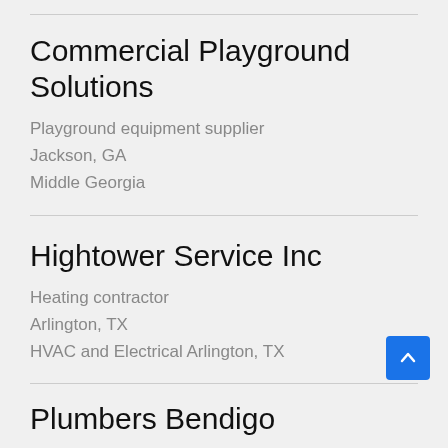Commercial Playground Solutions
Playground equipment supplier
Jackson, GA
Middle Georgia
Hightower Service Inc
Heating contractor
Arlington, TX
HVAC and Electrical Arlington, TX
Plumbers Bendigo